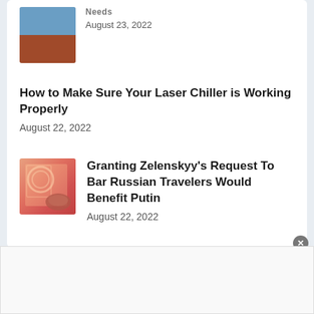[Figure (photo): Thumbnail image partially visible at top - appears to show interior/room scene]
August 23, 2022
How to Make Sure Your Laser Chiller is Working Properly
August 22, 2022
[Figure (photo): Thumbnail image showing hands holding a passport with pink/red decorative design]
Granting Zelenskyy’s Request To Bar Russian Travelers Would Benefit Putin
August 22, 2022
[Figure (other): Dark navy footer bar]
[Figure (other): Advertisement/close button overlay area]